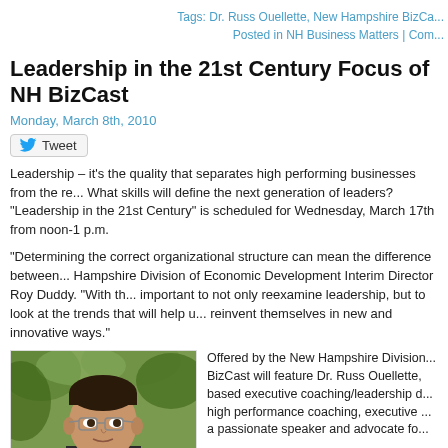Tags: Dr. Russ Ouellette, New Hampshire BizCa...
Posted in NH Business Matters | Com...
Leadership in the 21st Century Focus of NH BizCast
Monday, March 8th, 2010
Tweet
Leadership – it's the quality that separates high performing businesses from the rest. What skills will define the next generation of leaders? "Leadership in the 21st Century" is scheduled for Wednesday, March 17th from noon-1 p.m.
"Determining the correct organizational structure can mean the difference between... Hampshire Division of Economic Development Interim Director Roy Duddy. "With th... important to not only reexamine leadership, but to look at the trends that will help u... reinvent themselves in new and innovative ways."
[Figure (photo): Headshot of Dr. Russ Ouellette, a man with glasses and dark hair, photographed outdoors with green foliage background]
Offered by the New Hampshire Division... BizCast will feature Dr. Russ Ouellette, based executive coaching/leadership d... high performance coaching, executive ... a passionate speaker and advocate fo...
In this presentation, Ouellette will discu... society, what leadership will look like in... for and shaping fundamental changes i...